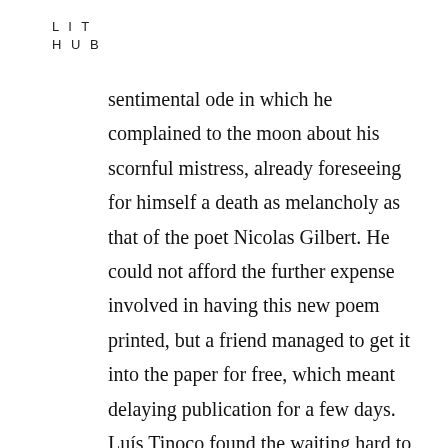L I T
H U B
sentimental ode in which he complained to the moon about his scornful mistress, already foreseeing for himself a death as melancholy as that of the poet Nicolas Gilbert. He could not afford the further expense involved in having this new poem printed, but a friend managed to get it into the paper for free, which meant delaying publication for a few days. Luís Tinoco found the waiting hard to bear, and even suspected some envious editors at the Correio